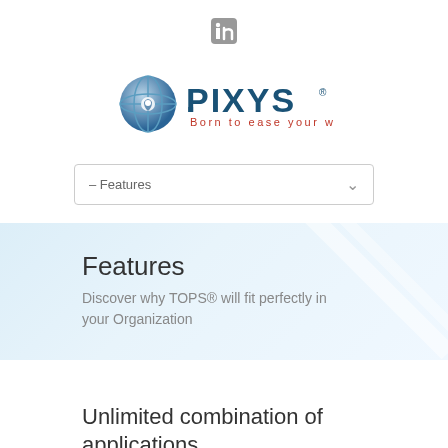[Figure (logo): LinkedIn icon/logo in a grey square]
[Figure (logo): PIXYS logo with globe icon and tagline 'Born to ease your work']
– Features
Features
Discover why TOPS® will fit perfectly in your Organization
Unlimited combination of applications